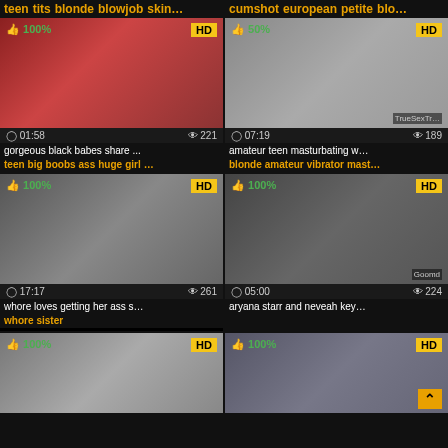teen tits blonde blowjob skin… | cumshot european petite blo…
[Figure (screenshot): Video thumbnail grid showing adult content video cards with thumbnails, HD badges, view counts, durations, titles and tags]
gorgeous black babes share ...
teen big boobs ass huge girl …
amateur teen masturbating w…
blonde amateur vibrator mast…
whore loves getting her ass s…
whore sister
aryana starr and neveah key…